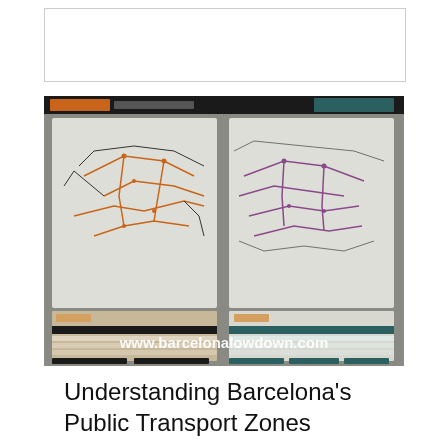[Figure (other): Blank white placeholder box at top of page]
[Figure (photo): Photograph of a Barcelona public transport zones map/poster mounted on a surface. The poster shows two transit network maps of Barcelona, transport fare tables for 2013, and schedule/pricing information. The website watermark 'www.barcelonalowdown.com' is overlaid in white text at the bottom of the image. The header of the poster shows 'Nocialetes' branding in orange/black.]
Understanding Barcelona's Public Transport Zones